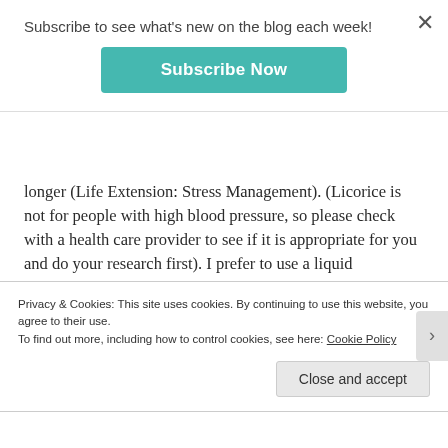Subscribe to see what's new on the blog each week!
[Figure (other): Teal 'Subscribe Now' button]
longer (Life Extension: Stress Management). (Licorice is not for people with high blood pressure, so please check with a health care provider to see if it is appropriate for you and do your research first). I prefer to use a liquid extracts/tincture because I can tailor the dose – I found the average capsule dose made me jittery but with a liquid I can take just a few drops. Dr. Teitelbaum recommends the equivalent of 100 to 150
Privacy & Cookies: This site uses cookies. By continuing to use this website, you agree to their use.
To find out more, including how to control cookies, see here: Cookie Policy
Close and accept